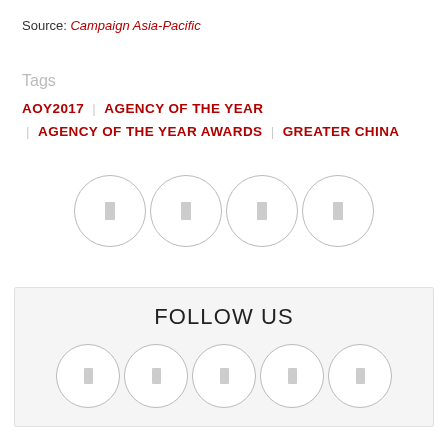Source: Campaign Asia-Pacific
Tags
AOY2017  |  AGENCY OF THE YEAR  |  AGENCY OF THE YEAR AWARDS  |  GREATER CHINA
[Figure (other): Four circular social media icon buttons in a row]
FOLLOW US
[Figure (other): Five circular social media icon buttons in a row inside a Follow Us box]